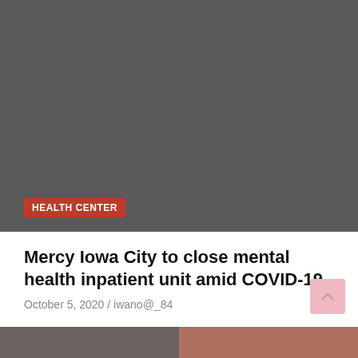[Figure (photo): Dark gray background image for article header]
HEALTH CENTER
Mercy Iowa City to close mental health inpatient unit amid COVID-19
October 5, 2020 / iwano@_84
[Figure (photo): Two side-by-side photos at the bottom of the page: left shows a dark building/door, right shows a person's face/profile]